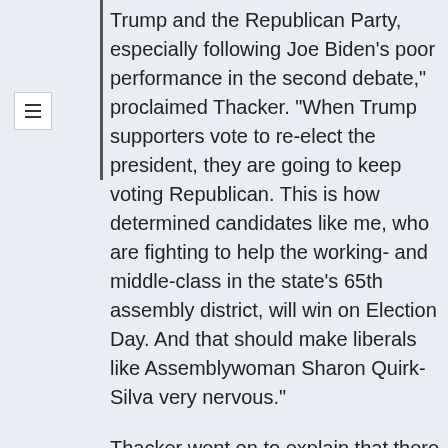Trump and the Republican Party, especially following Joe Biden’s poor performance in the second debate,” proclaimed Thacker. “When Trump supporters vote to re-elect the president, they are going to keep voting Republican. This is how determined candidates like me, who are fighting to help the working- and middle-class in the state’s 65th assembly district, will win on Election Day. And that should make liberals like Assemblywoman Sharon Quirk-Silva very nervous.”
Thacker went on to explain that there is a lot of anger in California at Democrat Gov. Newsom and the Democratic legislature that supports his antics. Thacker pointed to the recently announced regulations for Thanksgiving Day gatherings as an example, wondering why Quirk-Silva hasn’t